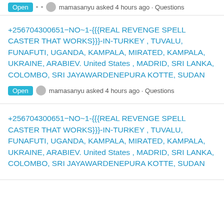Open · mamasanyu asked 4 hours ago · Questions
+256704300651−NO~1-{{{REAL REVENGE SPELL CASTER THAT WORKS}}}-IN-TURKEY , TUVALU, FUNAFUTI, UGANDA, KAMPALA, MIRATED, KAMPALA, UKRAINE, ARABIEV. United States , MADRID, SRI LANKA, COLOMBO, SRI JAYAWARDENEPURA KOTTE, SUDAN
Open · mamasanyu asked 4 hours ago · Questions
+256704300651−NO~1-{{{REAL REVENGE SPELL CASTER THAT WORKS}}}-IN-TURKEY , TUVALU, FUNAFUTI, UGANDA, KAMPALA, MIRATED, KAMPALA, UKRAINE, ARABIEV. United States , MADRID, SRI LANKA, COLOMBO, SRI JAYAWARDENEPURA KOTTE, SUDAN